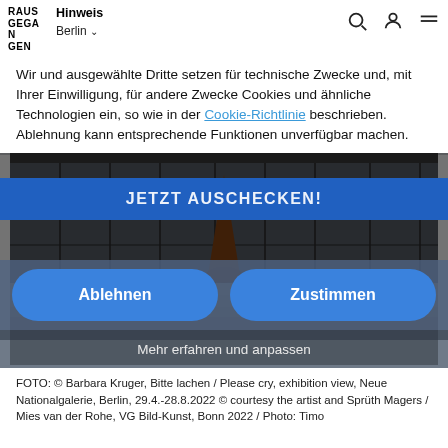Hinweis
Wir und ausgewählte Dritte setzen für technische Zwecke und, mit Ihrer Einwilligung, für andere Zwecke Cookies und ähnliche Technologien ein, so wie in der Cookie-Richtlinie beschrieben. Ablehnung kann entsprechende Funktionen unverfügbar machen.
[Figure (screenshot): Website screenshot showing a cookie consent dialog overlay on top of the Neue Nationalgalerie Berlin exterior photo. The dialog has two buttons: 'Ablehnen' (Reject) and 'Zustimmen' (Accept), plus a 'Mehr erfahren und anpassen' (Learn more and customize) link. Behind is a blue banner 'JETZT AUSCHECKEN!' and the gallery building photo.]
FOTO: © Barbara Kruger, Bitte lachen / Please cry, exhibition view, Neue Nationalgalerie, Berlin, 29.4.-28.8.2022 © courtesy the artist and Sprüth Magers / Mies van der Rohe, VG Bild-Kunst, Bonn 2022 / Photo: Timo